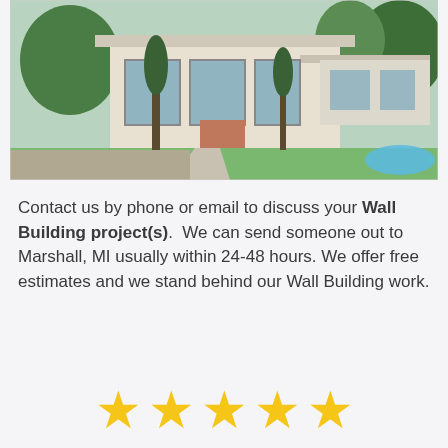[Figure (photo): Exterior view of a modern white residential house with large windows, cypress trees, landscaped garden, and a pool visible on the right side.]
Contact us by phone or email to discuss your Wall Building project(s). We can send someone out to Marshall, MI usually within 24-48 hours. We offer free estimates and we stand behind our Wall Building work.
[Figure (illustration): Five gold/yellow star rating icons displayed in a row.]